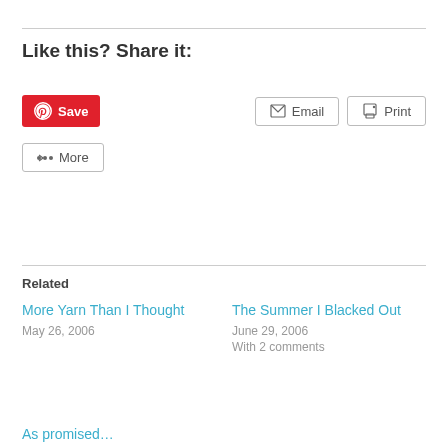Like this? Share it:
[Figure (other): Share buttons: Pinterest Save, Email, Print, More]
Related
More Yarn Than I Thought
May 26, 2006
The Summer I Blacked Out
June 29, 2006
With 2 comments
As promised…